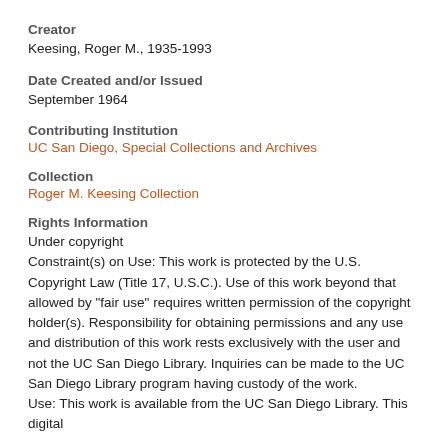Creator
Keesing, Roger M., 1935-1993
Date Created and/or Issued
September 1964
Contributing Institution
UC San Diego, Special Collections and Archives
Collection
Roger M. Keesing Collection
Rights Information
Under copyright
Constraint(s) on Use: This work is protected by the U.S. Copyright Law (Title 17, U.S.C.). Use of this work beyond that allowed by "fair use" requires written permission of the copyright holder(s). Responsibility for obtaining permissions and any use and distribution of this work rests exclusively with the user and not the UC San Diego Library. Inquiries can be made to the UC San Diego Library program having custody of the work.
Use: This work is available from the UC San Diego Library. This digital